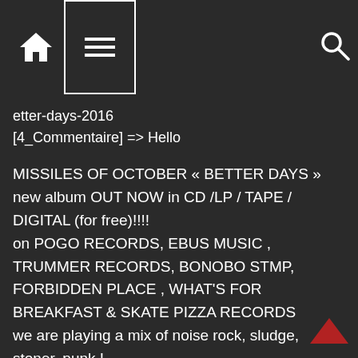Navigation header with home, menu, and search icons
etter-days-2016
[4_Commentaire] => Hello
MISSILES OF OCTOBER « BETTER DAYS » new album OUT NOW in CD /LP / TAPE / DIGITAL (for free)!!!!
on POGO RECORDS, EBUS MUSIC , TRUMMER RECORDS, BONOBO STMP, FORBIDDEN PLACE , WHAT'S FOR BREAKFAST & SKATE PIZZA RECORDS
we are playing a mix of noise rock, sludge, stoner, punk !
Magazine/webzine/radio/blog/people
PLEASE listen it, diffuse it, review it!!!!